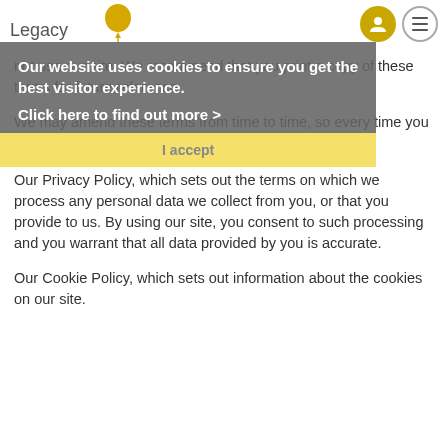Legacy
[Figure (screenshot): Cookie consent overlay banner with text: Our website uses cookies to ensure you get the best visitor experience. Click here to find out more >. I accept button in yellow.]
not use our site. We recommend that you print a copy of these terms for future reference.
We may amend these terms from time to time, so every time you wish to use our site, please check these terms.
Our Privacy Policy, which sets out the terms on which we process any personal data we collect from you, or that you provide to us. By using our site, you consent to such processing and you warrant that all data provided by you is accurate.
Our Cookie Policy, which sets out information about the cookies on our site.